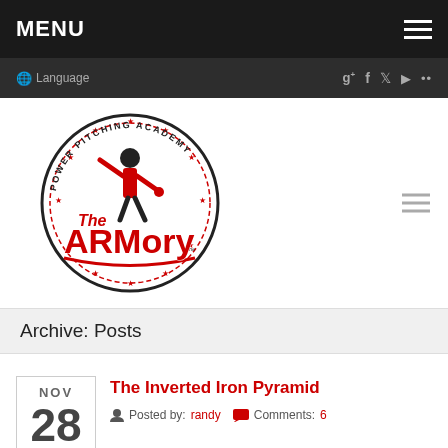MENU
Language | social icons: g+ f twitter youtube flickr
[Figure (logo): The ARMory Power Pitching Academy logo — baseball pitcher figure in a circular badge with text 'The ARMory' in large letters]
Archive: Posts
NOV 28
The Inverted Iron Pyramid
Posted by: randy   Comments: 6